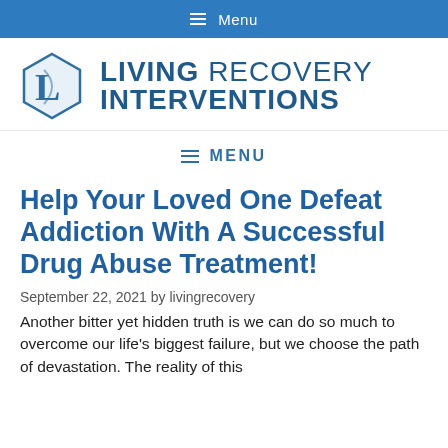☰ Menu
[Figure (logo): Living Recovery Interventions logo with hexagonal L icon]
☰ MENU
Help Your Loved One Defeat Addiction With A Successful Drug Abuse Treatment!
September 22, 2021 by livingrecovery
Another bitter yet hidden truth is we can do so much to overcome our life's biggest failure, but we choose the path of devastation. The reality of this